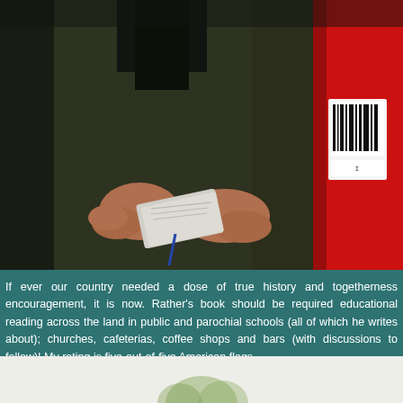[Figure (photo): Close-up photograph of a person in a dark olive jacket holding ballots or folded papers in their hands, with a red structure (possibly a ballot box or voting machine) visible on the right side with a barcode label.]
If ever our country needed a dose of true history and togetherness encouragement, it is now.  Rather's book should be required educational reading across the land in public and parochial schools (all of which he writes about); churches, cafeterias, coffee shops and bars (with discussions to follow)!  My rating is five-out-of-five American flags.
[Figure (photo): Bottom portion of a photo partially visible, showing a light background with what appears to be a plant or foliage.]